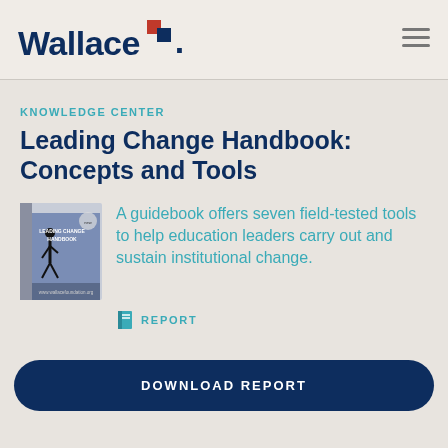Wallace
KNOWLEDGE CENTER
Leading Change Handbook: Concepts and Tools
[Figure (illustration): Book cover of 'Leading Change Handbook' with a figure and blue cover design]
A guidebook offers seven field-tested tools to help education leaders carry out and sustain institutional change.
REPORT
DOWNLOAD REPORT